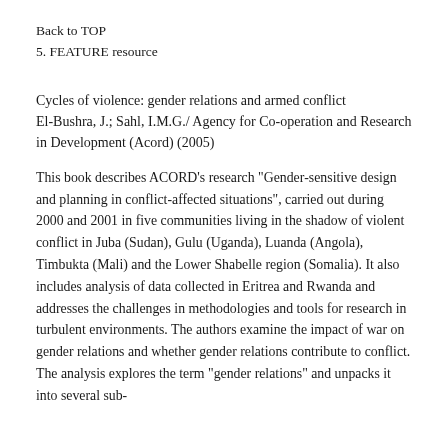Back to TOP
5. FEATURE resource
Cycles of violence: gender relations and armed conflict
El-Bushra, J.; Sahl, I.M.G./ Agency for Co-operation and Research in Development (Acord) (2005)
This book describes ACORD's research "Gender-sensitive design and planning in conflict-affected situations", carried out during 2000 and 2001 in five communities living in the shadow of violent conflict in Juba (Sudan), Gulu (Uganda), Luanda (Angola), Timbukta (Mali) and the Lower Shabelle region (Somalia). It also includes analysis of data collected in Eritrea and Rwanda and addresses the challenges in methodologies and tools for research in turbulent environments. The authors examine the impact of war on gender relations and whether gender relations contribute to conflict. The analysis explores the term "gender relations" and unpacks it into several sub-